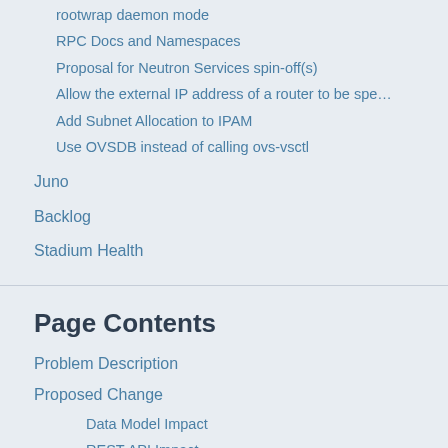rootwrap daemon mode
RPC Docs and Namespaces
Proposal for Neutron Services spin-off(s)
Allow the external IP address of a router to be spe…
Add Subnet Allocation to IPAM
Use OVSDB instead of calling ovs-vsctl
Juno
Backlog
Stadium Health
Page Contents
Problem Description
Proposed Change
Data Model Impact
REST API Impact
Security Impact
Notifications Impact
Other End User Impact
Performance Impact
IP & Impact